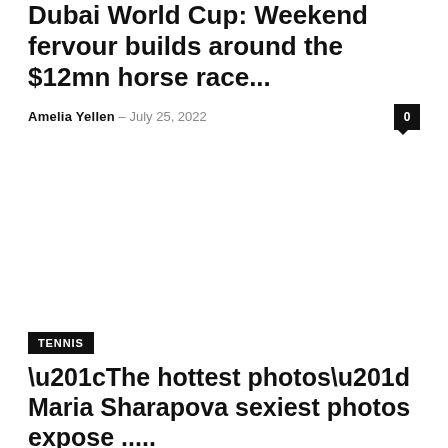Dubai World Cup: Weekend fervour builds around the $12mn horse race...
Amelia Yellen – July 25, 2022
[Figure (photo): Large image placeholder area (white/blank) for Dubai World Cup article]
TENNIS
“The hottest photos” Maria Sharapova sexiest photos expose .....
Amelia Yellen – July 24, 2022